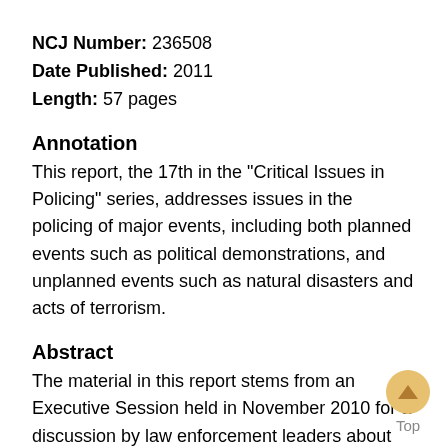NCJ Number: 236508
Date Published: 2011
Length: 57 pages
Annotation
This report, the 17th in the "Critical Issues in Policing" series, addresses issues in the policing of major events, including both planned events such as political demonstrations, and unplanned events such as natural disasters and acts of terrorism.
Abstract
The material in this report stems from an Executive Session held in November 2010 for a discussion by law enforcement leaders about their approaches to managing major events. Most chapters conclude with recommendations and lessons learned from the